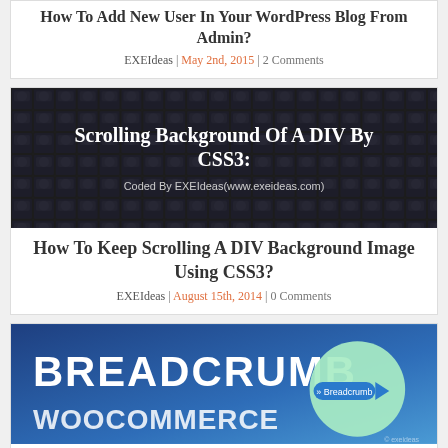How To Add New User In Your WordPress Blog From Admin?
EXEIdeas | May 2nd, 2015 | 2 Comments
[Figure (screenshot): Dark mosaic background image with text: Scrolling Background Of A DIV By CSS3: - Coded By EXEIdeas(www.exeideas.com)]
How To Keep Scrolling A DIV Background Image Using CSS3?
EXEIdeas | August 15th, 2014 | 0 Comments
[Figure (screenshot): Blue gradient banner with large white text BREADCRUMB WOOCOMMERCE and a circular badge with arrow pointing to breadcrumb]
How To Add And Customise WooC...